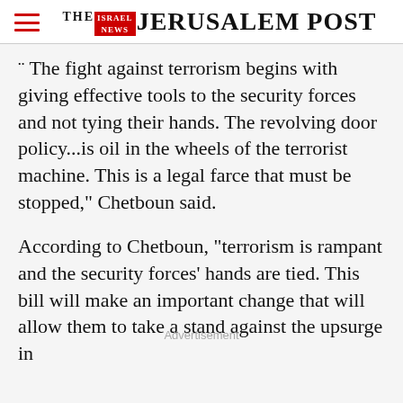THE JERUSALEM POST
" The fight against terrorism begins with giving effective tools to the security forces and not tying their hands. The revolving door policy...is oil in the wheels of the terrorist machine. This is a legal farce that must be stopped," Chetboun said.
According to Chetboun, "terrorism is rampant and the security forces' hands are tied. This bill will make an important change that will allow them to take a stand against the upsurge in
Advertisement